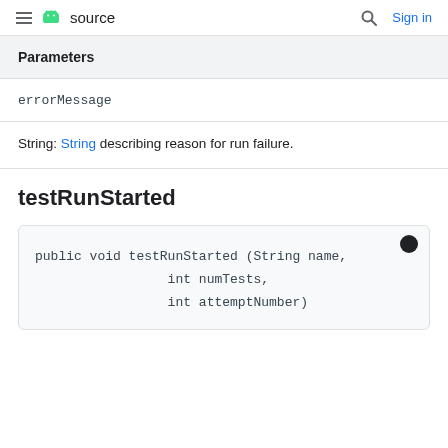≡ android source  🔍 Sign in
Parameters
errorMessage
String: String describing reason for run failure.
testRunStarted
public void testRunStarted (String name,
                 int numTests,
                 int attemptNumber)